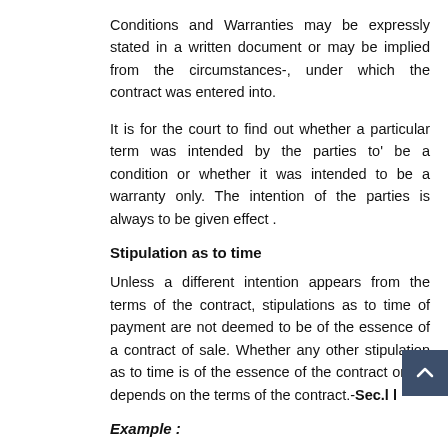Conditions and Warranties may be expressly stated in a written document or may be implied from the circumstances-, under which the contract was entered into.
It is for the court to find out whether a particular term was intended by the parties to' be a condition or whether it was intended to be a warranty only. The intention of the parties is always to be given effect .
Stipulation as to time
Unless a different intention appears from the terms of the contract, stipulations as to time of payment are not deemed to be of the essence of a contract of sale. Whether any other stipulation as to time is of the essence of the contract or not depends on the terms of the contract.-Sec.l l
Example :
There was a contract for sale of goods, c.i.f.- Antwerp. Delivery was to be given on October. Owing to a strike in the port of loading, the goods were not shipped 'until